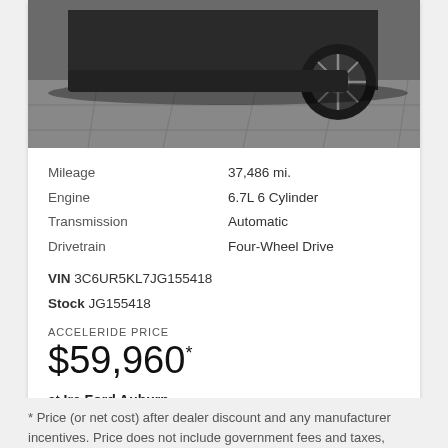[Figure (photo): Partial view of a vehicle (bottom portion showing wheel and tiled floor), black and white/grayscale]
Mileage    37,486 mi.
Engine    6.7L 6 Cylinder
Transmission    Automatic
Drivetrain    Four-Wheel Drive
VIN 3C6UR5KL7JG155418
Stock JG155418
ACCELERIDE PRICE
$59,960*
at Ira Ford Auburn
* Price (or net cost) after dealer discount and any manufacturer incentives. Price does not include government fees and taxes, or finance charges,